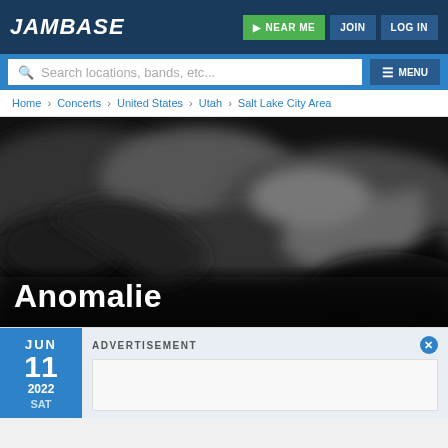JamBase | NEAR ME | JOIN | LOG IN
Search locations, bands, etc... MENU
Home › Concerts › United States › Utah › Salt Lake City Area
[Figure (photo): Blurred black and white abstract artistic photo used as hero banner for Anomalie artist page]
Anomalie
JUN 11 2022 SAT
ADVERTISEMENT